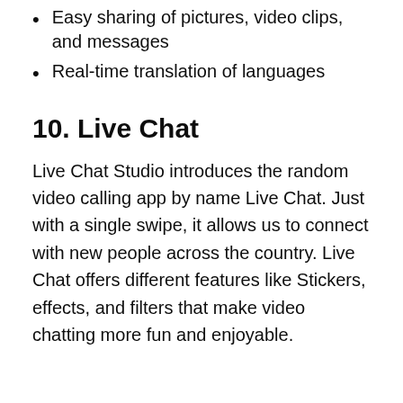Easy sharing of pictures, video clips, and messages
Real-time translation of languages
10. Live Chat
Live Chat Studio introduces the random video calling app by name Live Chat. Just with a single swipe, it allows us to connect with new people across the country. Live Chat offers different features like Stickers, effects, and filters that make video chatting more fun and enjoyable.